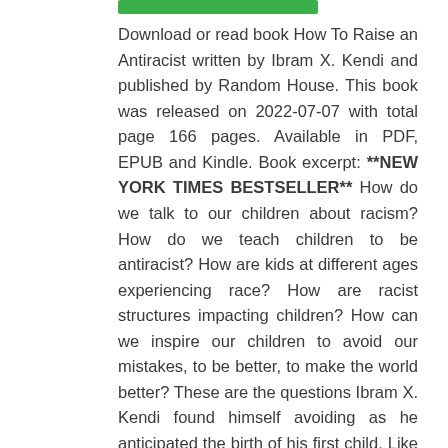[Figure (other): Green rectangular bar/button at the top]
Download or read book How To Raise an Antiracist written by Ibram X. Kendi and published by Random House. This book was released on 2022-07-07 with total page 166 pages. Available in PDF, EPUB and Kindle. Book excerpt: **NEW YORK TIMES BESTSELLER** How do we talk to our children about racism? How do we teach children to be antiracist? How are kids at different ages experiencing race? How are racist structures impacting children? How can we inspire our children to avoid our mistakes, to be better, to make the world better? These are the questions Ibram X. Kendi found himself avoiding as he anticipated the birth of his first child. Like most parents or parents-to-be, he felt the reflex to not talk to his child about racism, which he feared would stain her